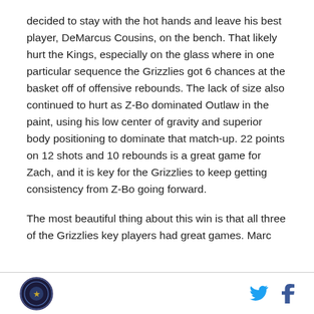decided to stay with the hot hands and leave his best player, DeMarcus Cousins, on the bench. That likely hurt the Kings, especially on the glass where in one particular sequence the Grizzlies got 6 chances at the basket off of offensive rebounds. The lack of size also continued to hurt as Z-Bo dominated Outlaw in the paint, using his low center of gravity and superior body positioning to dominate that match-up. 22 points on 12 shots and 10 rebounds is a great game for Zach, and it is key for the Grizzlies to keep getting consistency from Z-Bo going forward.
The most beautiful thing about this win is that all three of the Grizzlies key players had great games. Marc
[logo] [twitter icon] [facebook icon]